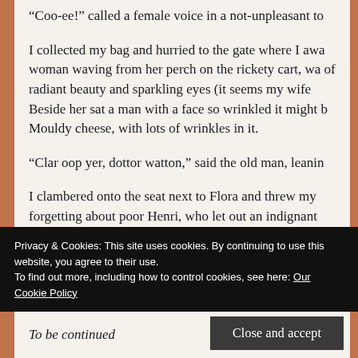“Coo-ee!” called a female voice in a not-unpleasant to
I collected my bag and hurried to the gate where I awa woman waving from her perch on the rickety cart, wa of radiant beauty and sparkling eyes (it seems my wife Beside her sat a man with a face so wrinkled it might b Mouldy cheese, with lots of wrinkles in it.
“Clar oop yer, dottor watton,” said the old man, leanin
I clambered onto the seat next to Flora and threw my forgetting about poor Henri, who let out an indignant
The old man (who I later learned was named Adam Sh
Privacy & Cookies: This site uses cookies. By continuing to use this website, you agree to their use.
To find out more, including how to control cookies, see here: Our Cookie Policy
Close and accept
To be continued